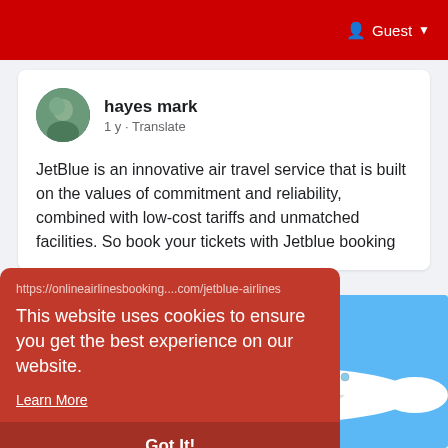Guest
hayes mark
1 y - Translate
JetBlue is an innovative air travel service that is built on the values of commitment and reliability, combined with low-cost tariffs and unmatched facilities. So book your tickets with Jetblue booking
[Figure (screenshot): Cookie consent overlay on red background with JetBlue airline image. URL shown: https://onlineairlinesbooking....com/jetblue-airlines. Text: This website uses cookies to ensure you get the best experience on our website. Learn More. Got It!]